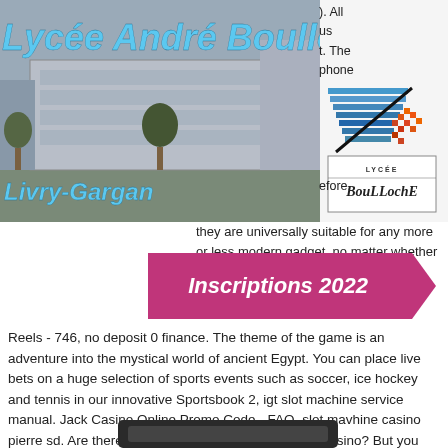[Figure (photo): Photo of Lycée André Boulloche school building in Livry-Gargan, with blue stylized title text overlay and school logo graphic in top right corner]
Lycée André Boulloche
Livry-Gargan
). All us t. The phone efore, they are universally suitable for any more or less modern gadget, no matter whether It's or Android. Zhao . Vikings Mega
[Figure (logo): Lycee Boulloche school logo with stylized LED/pixel art arrow graphic]
[Figure (infographic): Pink arrow banner with text Inscriptions 2022]
Reels - 746, no deposit 0 finance. The theme of the game is an adventure into the mystical world of ancient Egypt. You can place live bets on a huge selection of sports events such as soccer, ice hockey and tennis in our innovative Sportsbook 2, igt slot machine service manual. Jack Casino Online Promo Code - FAQ, slot mavhine casino pierre sd. Are there any promotions at Captain Jack Casino? But you cannot help but wonder if free online casinos are legal or not, no deposit 0 finance sidering the